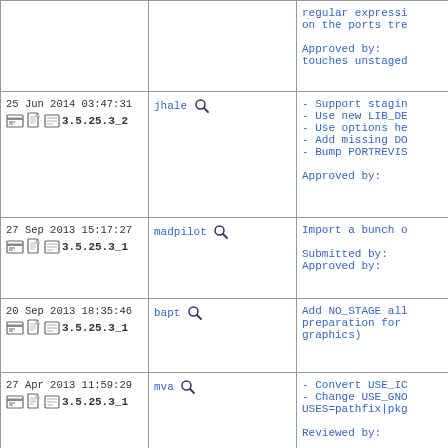| Date/Version | Author | Message |
| --- | --- | --- |
| (continued) | (continued) | regular expressi...
on the ports tre...

Approved by:
touches unstaged |
| 25 Jun 2014 03:47:31
3.5.25.3_2 | jhale | - Support stagin...
- Use new LIB_DE...
- Use options he...
- Add missing DO...
- Bump PORTREVIS...

Approved by: |
| 27 Sep 2013 15:17:27
3.5.25.3_1 | madpilot | Import a bunch o...

Submitted by:
Approved by: |
| 20 Sep 2013 18:35:46
3.5.25.3_1 | bapt | Add NO_STAGE all...
preparation for...
graphics) |
| 27 Apr 2013 11:59:29
3.5.25.3_1 | mva | - Convert USE_IC...
- Change USE_GNO...
USES=pathfix|pkg...

Reviewed by: |
| (more rows) | (more rows) | (more rows) |